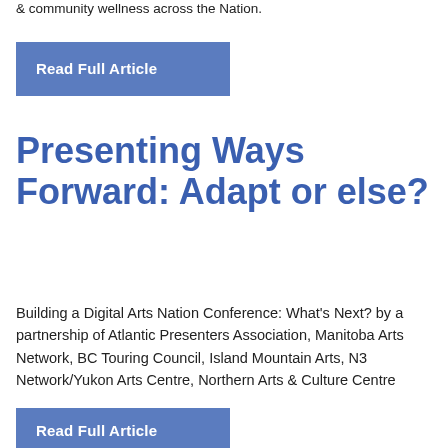& community wellness across the Nation.
Read Full Article
Presenting Ways Forward: Adapt or else?
Building a Digital Arts Nation Conference: What's Next? by a partnership of Atlantic Presenters Association, Manitoba Arts Network, BC Touring Council, Island Mountain Arts, N3 Network/Yukon Arts Centre, Northern Arts & Culture Centre
Read Full Article